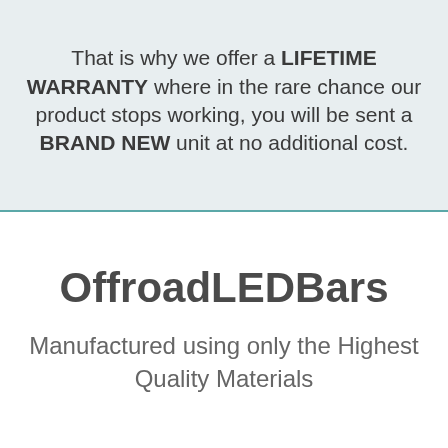That is why we offer a LIFETIME WARRANTY where in the rare chance our product stops working, you will be sent a BRAND NEW unit at no additional cost.
OffroadLEDBars
Manufactured using only the Highest Quality Materials